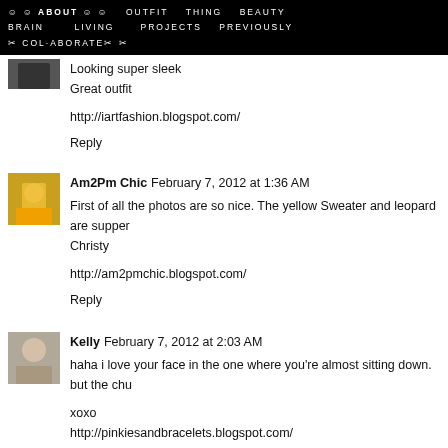☺ ☺ ABOUT ☺ ☺   OUTFIT   THING   BEAUTY   BRAIN   LIVING   PROJECTS   PREVIOUSLY   ✂ COL·ABORATE✂ ✂
Looking super sleek
Great outfit

http://iartfashion.blogspot.com/

Reply
Am2Pm Chic  February 7, 2012 at 1:36 AM
First of all the photos are so nice. The yellow Sweater and leopard are supper...
Christy

http://am2pmchic.blogspot.com/

Reply
Kelly  February 7, 2012 at 2:03 AM
haha i love your face in the one where you're almost sitting down. but the chu...

xoxo
http://pinkiesandbracelets.blogspot.com/

Reply
Neris / Fashion Fractions  February 7, 2012 at 5:13 AM